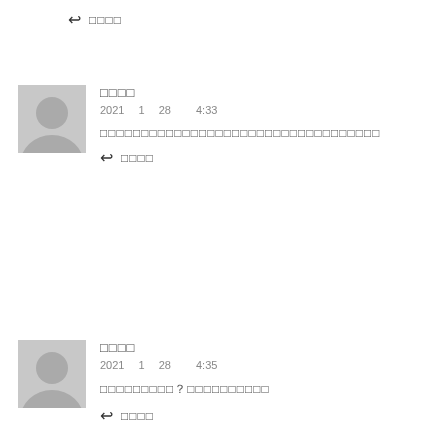↩ □□□□
□□□□
2021 □ 1 □ 28 □□□ 4:33
□□□□□□□□□□□□□□□□□□□□□□□□□□□□□□□□□□
↩ □□□□
□□□□
2021 □ 1 □ 28 □□□ 4:35
□□□□□□□□□？□□□□□□□□□□
↩ □□□□